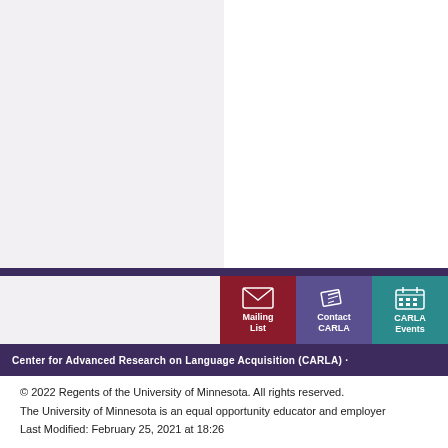[Figure (other): Two-column background area: left column light gray, right column white, representing a webpage layout background.]
Mailing List | Contact CARLA | CARLA Events
Center for Advanced Research on Language Acquisition (CARLA) ·
© 2022 Regents of the University of Minnesota. All rights reserved.
The University of Minnesota is an equal opportunity educator and employer
Last Modified: February 25, 2021 at 18:26